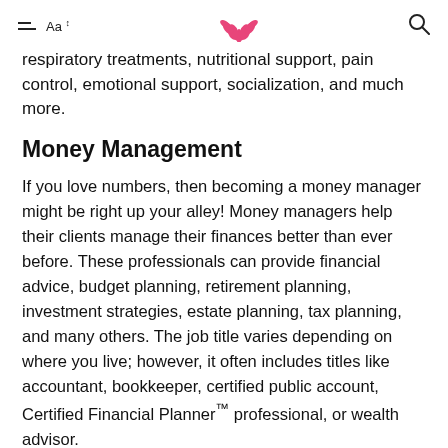Aa ↕ [lotus logo] [search icon]
respiratory treatments, nutritional support, pain control, emotional support, socialization, and much more.
Money Management
If you love numbers, then becoming a money manager might be right up your alley! Money managers help their clients manage their finances better than ever before. These professionals can provide financial advice, budget planning, retirement planning, investment strategies, estate planning, tax planning, and many others. The job title varies depending on where you live; however, it often includes titles like accountant, bookkeeper, certified public account, Certified Financial Planner™ professional, or wealth advisor.
Health Insurance